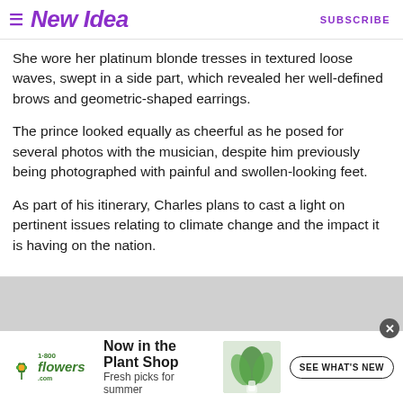New Idea | SUBSCRIBE
She wore her platinum blonde tresses in textured loose waves, swept in a side part, which revealed her well-defined brows and geometric-shaped earrings.
The prince looked equally as cheerful as he posed for several photos with the musician, despite him previously being photographed with painful and swollen-looking feet.
As part of his itinerary, Charles plans to cast a light on pertinent issues relating to climate change and the impact it is having on the nation.
[Figure (other): Advertisement banner for 1-800-Flowers.com: 'Now in the Plant Shop – Fresh picks for summer' with plant image and 'SEE WHAT'S NEW' button.]